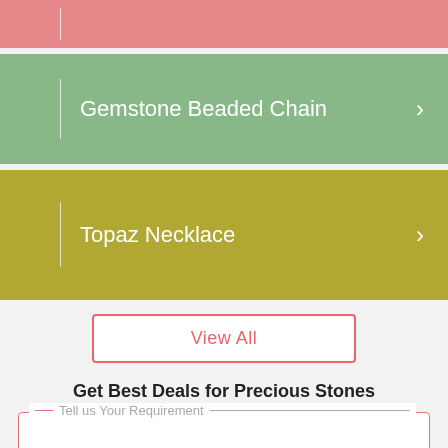[Figure (screenshot): Pink colored navigation bar (partially visible at top)]
Gemstone Beaded Chain
Topaz Necklace
View All
Get Best Deals for Precious Stones
Tell us Your Requirement